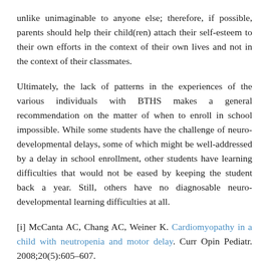unlike unimaginable to anyone else; therefore, if possible, parents should help their child(ren) attach their self-esteem to their own efforts in the context of their own lives and not in the context of their classmates.
Ultimately, the lack of patterns in the experiences of the various individuals with BTHS makes a general recommendation on the matter of when to enroll in school impossible. While some students have the challenge of neuro-developmental delays, some of which might be well-addressed by a delay in school enrollment, other students have learning difficulties that would not be eased by keeping the student back a year. Still, others have no diagnosable neuro-developmental learning difficulties at all.
[i] McCanta AC, Chang AC, Weiner K. Cardiomyopathy in a child with neutropenia and motor delay. Curr Opin Pediatr. 2008;20(5):605–607.